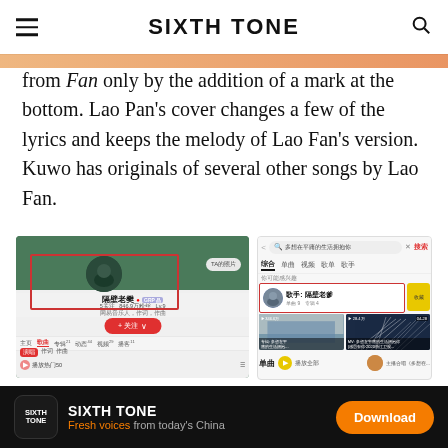SIXTH TONE
from Fan only by the addition of a mark at the bottom. Lao Pan's cover changes a few of the lyrics and keeps the melody of Lao Fan's version. Kuwo has originals of several other songs by Lao Fan.
[Figure (screenshot): Two mobile app screenshots side by side. Left: NetEase Music profile page for 隔壁老樊 (Lao Fan) with red box highlighting artist name area. Right: Kuwo Music search results for 多想在平庸的生活拥抱你 showing artist 歌手: 隔壁老爹 highlighted in red box, with video thumbnails and single listing below.]
SIXTH TONE — Fresh voices from today's China — Download